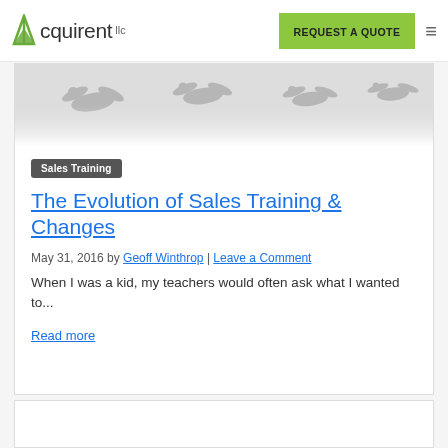Acquirent llc | REQUEST A QUOTE
[Figure (illustration): Silhouettes of flying birds (geese/ducks) in grey tones on a light background, fading toward the bottom]
Sales Training
The Evolution of Sales Training & Changes
May 31, 2016 by Geoff Winthrop | Leave a Comment
When I was a kid, my teachers would often ask what I wanted to...
Read more